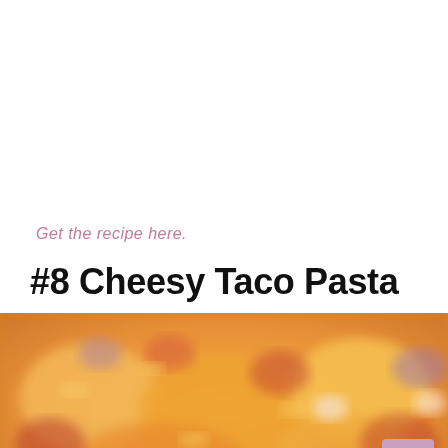Get the recipe here.
#8 Cheesy Taco Pasta
[Figure (photo): Close-up blurred photo of cheesy taco pasta dish with orange/yellow cheese, pasta pieces, and colorful toppings]